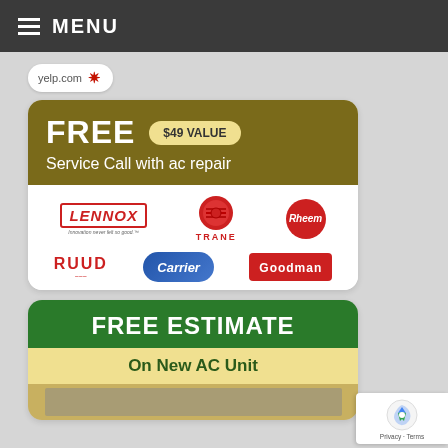MENU
[Figure (logo): yelp.com badge with Yelp star logo]
[Figure (infographic): FREE $49 VALUE - Service Call with ac repair - brand logos: Lennox, Trane, Rheem, Ruud, Carrier, Goodman]
[Figure (infographic): FREE ESTIMATE On New AC Unit - green and yellow ad card]